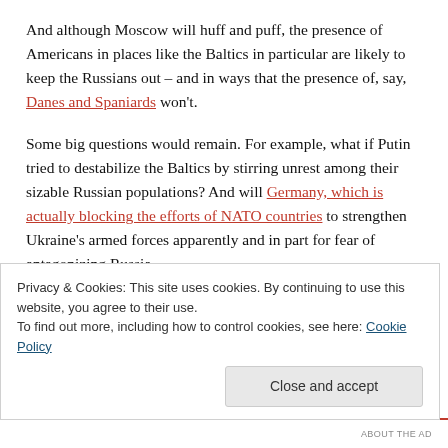And although Moscow will huff and puff, the presence of Americans in places like the Baltics in particular are likely to keep the Russians out – and in ways that the presence of, say, Danes and Spaniards won't.
Some big questions would remain. For example, what if Putin tried to destabilize the Baltics by stirring unrest among their sizable Russian populations? And will Germany, which is actually blocking the efforts of NATO countries to strengthen Ukraine's armed forces apparently and in part for fear of antagonizing Russia
Privacy & Cookies: This site uses cookies. By continuing to use this website, you agree to their use.
To find out more, including how to control cookies, see here: Cookie Policy